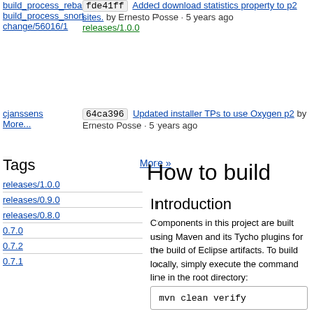build_process_rebas... fde41ff Added download statistics property to p2 sites. by Ernesto Posse · 5 years ago
build_process_snort change/56016/1 releases/1.0.0
cjanssens More... 64ca396 Updated installer TPs to use Oxygen p2 by Ernesto Posse · 5 years ago
Tags
More »
releases/1.0.0
releases/0.9.0
releases/0.8.0
0.7.0
0.7.2
0.7.1
How to build
Introduction
Components in this project are built using Maven and its Tycho plugins for the build of Eclipse artifacts. To build locally, simply execute the command line in the root directory: